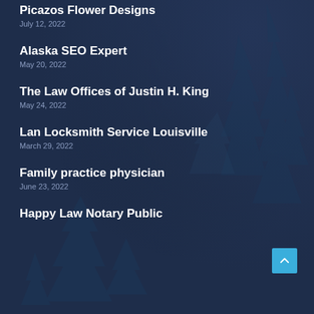Picazos Flower Designs
July 12, 2022
Alaska SEO Expert
May 20, 2022
The Law Offices of Justin H. King
May 24, 2022
Lan Locksmith Service Louisville
March 29, 2022
Family practice physician
June 23, 2022
Happy Law Notary Public